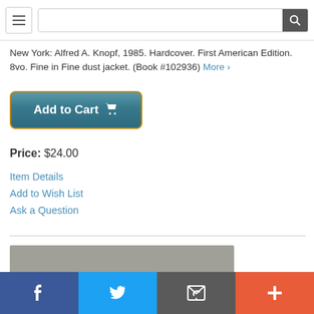Navigation menu and search bar
New York: Alfred A. Knopf, 1985. Hardcover. First American Edition. 8vo. Fine in Fine dust jacket. (Book #102936) More ›
[Figure (other): Add to Cart button with shopping cart icon, teal/dark blue gradient with gold border]
Price: $24.00
Item Details
Add to Wish List
Ask a Question
[Figure (other): Gray rectangle bar partially visible at bottom]
Social sharing bar with Facebook, Twitter, Email/envelope, and Plus buttons